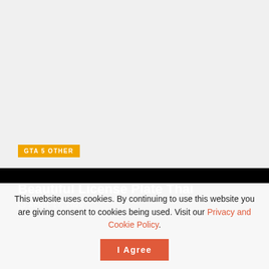[Figure (photo): Large gray placeholder image area for a GTA 5 related content]
GTA 5 OTHER
Beautiful License Plate Thai
APRIL 17, 2020
This website uses cookies. By continuing to use this website you are giving consent to cookies being used. Visit our Privacy and Cookie Policy.
I Agree